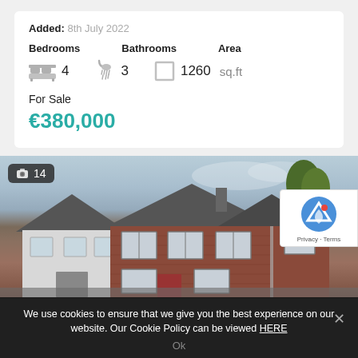Added: 8th July 2022
Bedrooms  Bathrooms  Area
4  3  1260 sq.ft
For Sale
€380,000
[Figure (photo): Street-level photo of a two-storey red brick semi-detached house with grey slate roof, white-framed windows, and trees visible in background. Photo count badge showing camera icon and 14.]
We use cookies to ensure that we give you the best experience on our website. Our Cookie Policy can be viewed HERE
Ok